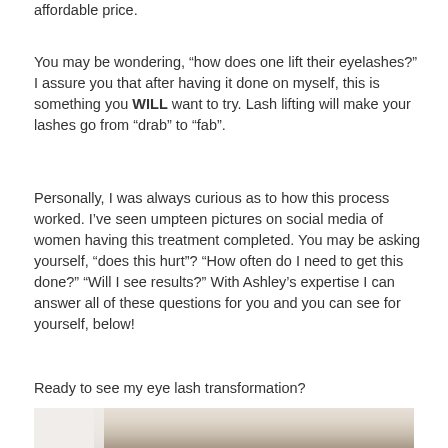affordable price.
You may be wondering, “how does one lift their eyelashes?” I assure you that after having it done on myself, this is something you WILL want to try. Lash lifting will make your lashes go from “drab” to “fab”.
Personally, I was always curious as to how this process worked. I’ve seen umpteen pictures on social media of women having this treatment completed. You may be asking yourself, “does this hurt”? “How often do I need to get this done?” “Will I see results?” With Ashley’s expertise I can answer all of these questions for you and you can see for yourself, below!
Ready to see my eye lash transformation?
[Figure (photo): Photo of a person lying down, close-up of face/eye area for eyelash lift transformation before/after]